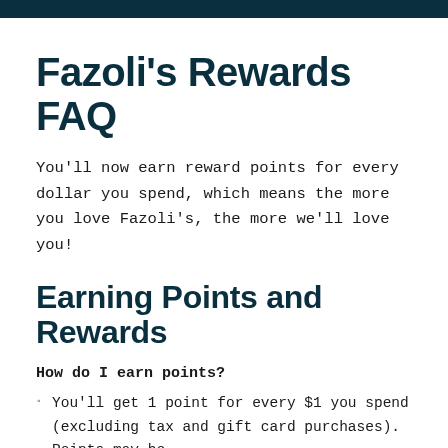Fazoli's Rewards FAQ
You'll now earn reward points for every dollar you spend, which means the more you love Fazoli's, the more we'll love you!
Earning Points and Rewards
How do I earn points?
You'll get 1 point for every $1 you spend (excluding tax and gift card purchases). Points may be